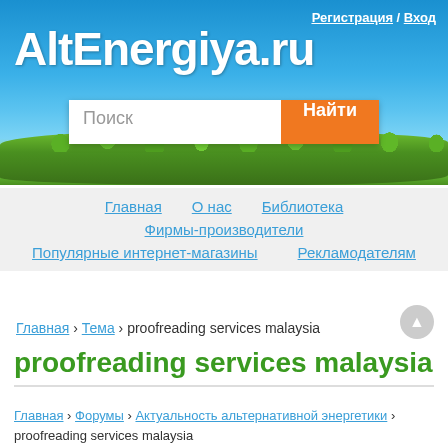[Figure (screenshot): AltEnergiya.ru website header banner with blue sky and green grass background, site title and search bar]
Регистрация / Вход
AltEnergiya.ru
Поиск [search input] Найти [button]
Главная
О нас
Библиотека
Фирмы-производители
Популярные интернет-магазины
Рекламодателям
Главная › Тема › proofreading services malaysia
proofreading services malaysia
Главная › Форумы › Актуальность альтернативной энергетики › proofreading services malaysia